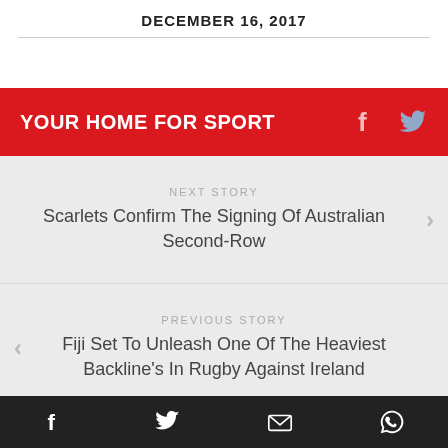DECEMBER 16, 2017
YOUR HOME FOR SPORT
NEXT STORY
Scarlets Confirm The Signing Of Australian Second-Row
PREVIOUS STORY
Fiji Set To Unleash One Of The Heaviest Backline's In Rugby Against Ireland